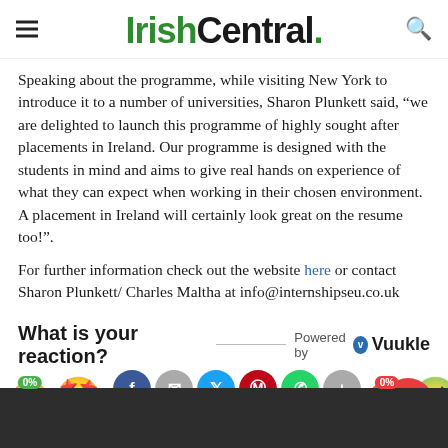IrishCentral.
Speaking about the programme, while visiting New York to introduce it to a number of universities, Sharon Plunkett said, "we are delighted to launch this programme of highly sought after placements in Ireland. Our programme is designed with the students in mind and aims to give real hands on experience of what they can expect when working in their chosen environment. A placement in Ireland will certainly look great on the resume too!".
For further information check out the website here or contact Sharon Plunkett/ Charles Maltha at info@internshipseu.co.uk
What is your reaction?
[Figure (other): Vuukle reaction widget with emoji faces and social sharing icons, showing 0% badges on happy and angry emoji. Social icons for Facebook, email, Twitter, Pinterest, WhatsApp, and share. Powered by Vuukle logo.]